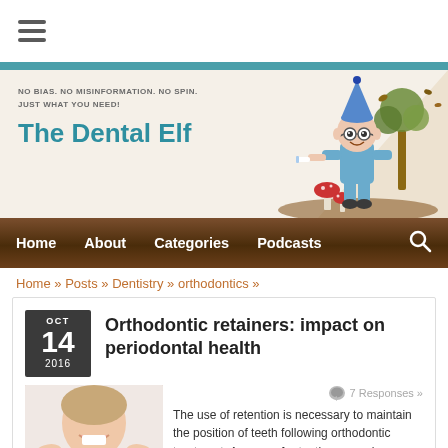The Dental Elf — NO BIAS. NO MISINFORMATION. NO SPIN. JUST WHAT YOU NEED!
Home » Posts » Dentistry » orthodontics »
Orthodontic retainers: impact on periodontal health
OCT 14 2016
7 Responses »
[Figure (photo): Photo of a woman smiling holding a clear orthodontic retainer]
The use of retention is necessary to maintain the position of teeth following orthodontic treatment. A range of retention procedures are used although a recent Cochrane review highlighted